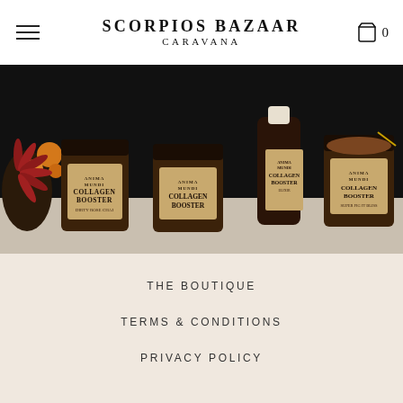SCORPIOS BAZAAR CARAVANA
[Figure (photo): Flat-lay product photo on dark background showing four Anima Mundi Collagen Booster jars and one bottle: Dirty Rose Chai, plain Collagen Booster, Collagen Booster liquid elixir bottle, and Collagen Booster Super Fig It Bliss, with flowers on the left side.]
THE BOUTIQUE
TERMS & CONDITIONS
PRIVACY POLICY